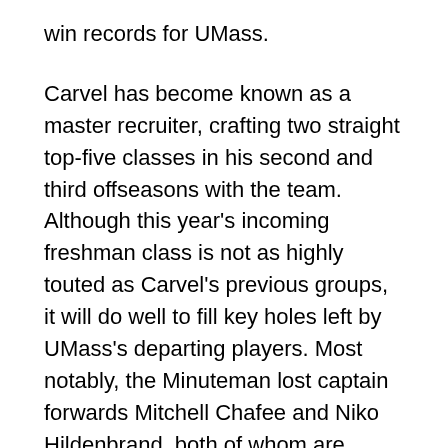win records for UMass.
Carvel has become known as a master recruiter, crafting two straight top-five classes in his second and third offseasons with the team. Although this year's incoming freshman class is not as highly touted as Carvel's previous groups, it will do well to fill key holes left by UMass's departing players. Most notably, the Minuteman lost captain forwards Mitchell Chafee and Niko Hildenbrand, both of whom are members of the historic class that included current NHL star Cale Makar.
Amherst brings in freshmen forwards Josh Lopina and Oliver MacDonald to help replace its stars. Lopina brings unmatched size and physicality to the forward group, while MacDonald is more of a skillful forward with